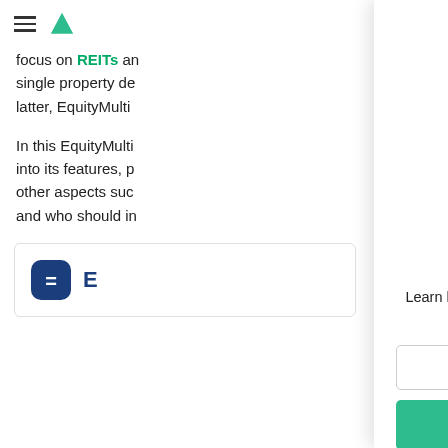≡ (hamburger menu) | (green triangle logo)
focus on REITs and single property deals. For the latter, EquityMulti...
In this EquityMulti... into its features, performance, and other aspects such as fees, and who should invest...
[Figure (other): EquityMultiple logo — dark navy hexagon with white equals symbol, followed by 'E']
Want to Start Investing?
[Figure (illustration): Tablet device displaying 'stock market playbook.' book cover with Benjamin Franklin's face and red 'playbook.' text. Subtitle: Learn How to Invest Your First $500 in The Stock Market]
Learn how to invest your first $500 in the stock market with our FREE Stock Market Playbook.
Enter your email address here...
Yes, Send It Now!